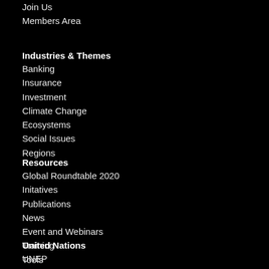Join Us
Members Area
Industries & Themes
Banking
Insurance
Investment
Climate Change
Ecosystems
Social Issues
Regions
Resources
Global Roundtable 2020
Initatives
Publications
News
Event and Webinars
Training
Tools
United Nations
UNEP
UNEP Economy Division